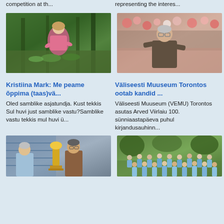competition at th...
representing the interes...
[Figure (photo): Woman crouching in forest examining plants, wearing pink jacket]
[Figure (photo): Elderly man sitting outdoors near flowers]
Kristiina Mark: Me peame õppima (taas)vä...
Väliseesti Muuseum Torontos ootab kandid ...
Oled samblike asjatundja. Kust tekkis Sul huvi just samblike vastu?Samblike vastu tekkis mul huvi ü...
Väliseesti Muuseum (VEMU) Torontos asutas Arved Viirlaiu 100. sünniaastapäeva puhul kirjandusauhinn...
[Figure (photo): Two men posing with a trophy award]
[Figure (photo): Large group of people in matching shirts outdoors]